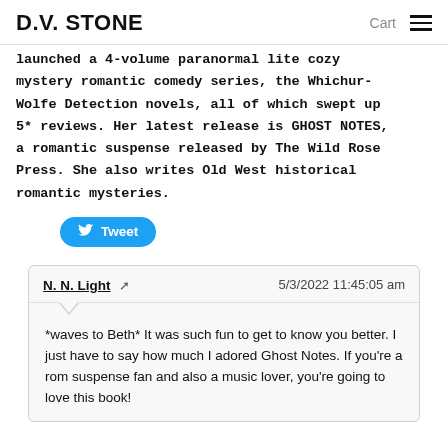D.V. STONE  Cart ☰
launched a 4-volume paranormal lite cozy mystery romantic comedy series, the Whichur-Wolfe Detection novels, all of which swept up 5* reviews. Her latest release is GHOST NOTES, a romantic suspense released by The Wild Rose Press. She also writes Old West historical romantic mysteries.
[Figure (other): Tweet button (Twitter share button in blue with bird icon)]
N. N. Light ➜   5/3/2022 11:45:05 am
*waves to Beth* It was such fun to get to know you better. I just have to say how much I adored Ghost Notes. If you're a rom suspense fan and also a music lover, you're going to love this book!